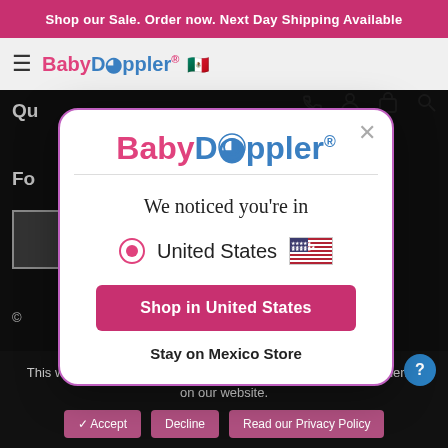Shop our Sale. Order now. Next Day Shipping Available
[Figure (screenshot): BabyDoppler website navigation bar with hamburger menu, logo, phone, account, cart, and search icons]
[Figure (screenshot): BabyDoppler modal popup with logo, 'We noticed you’re in' text, United States radio option with US flag, 'Shop in United States' pink button, and 'Stay on Mexico Store' link]
This website use cookies to ensure you get the best user experience on our website.
✓ Accept   Decline   Read our Privacy Policy